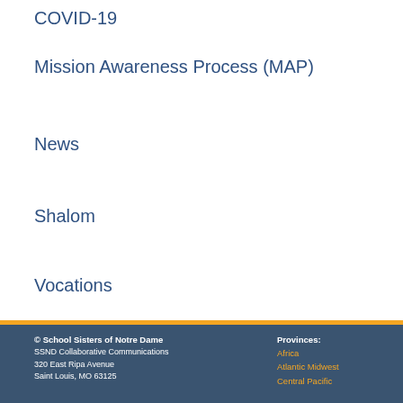COVID-19
Mission Awareness Process (MAP)
News
Shalom
Vocations
© School Sisters of Notre Dame
SSND Collaborative Communications
320 East Ripa Avenue
Saint Louis, MO 63125
Provinces:
Africa
Atlantic Midwest
Central Pacific